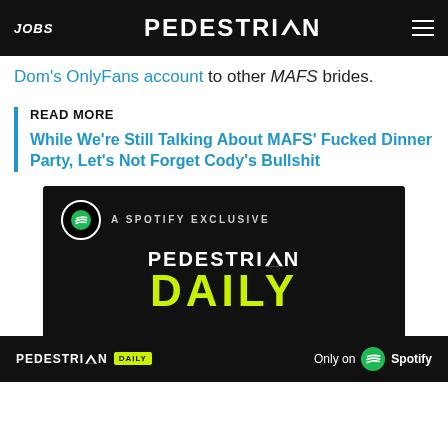JOBS | PEDESTRIAN | [menu]
Dom's OnlyFans account to other MAFS brides.
READ MORE
While We're Still Talking About MAFS' Fucked Dinner Party, Let's Not Forget Cody's Bullshit
[Figure (infographic): A Spotify Exclusive ad card for PEDESTRIAN DAILY podcast, showing the Spotify logo, text 'A SPOTIFY EXCLUSIVE', PEDESTRIAN logo and DAILY in lime green. Bottom banner: PEDESTRIAN DAILY logo and 'Only on Spotify'.]